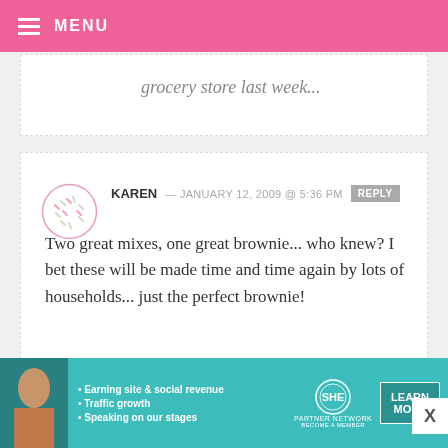MENU
grocery store last week...
KAREN — JANUARY 12, 2009 @ 5:36 PM REPLY
Two great mixes, one great brownie... who knew? I bet these will be made time and time again by lots of households... just the perfect brownie!
BROWNIES FOR DINNER — JANUARY 12, 2009 @ 5:36 PM REPLY
[Figure (infographic): SHE Partner Network advertisement banner with woman photo, bullet points: Earning site & social revenue, Traffic growth, Speaking on our stages, SHE logo, LEARN MORE button]